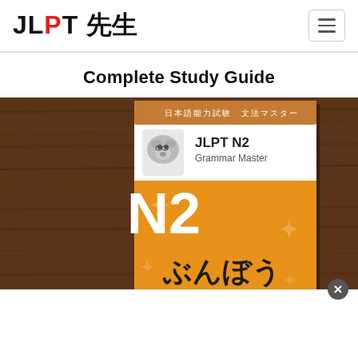JLPT 先生
Complete Study Guide
[Figure (photo): Photo of a JLPT N2 Grammar Master book (ぶんぼう) against a wooden background, featuring an orange cover with a cartoon dog/wolf illustration, Japanese text 日本語能力試験　文法マスター, and large N2 text in white and Japanese hiragana ぶんぼう below.]